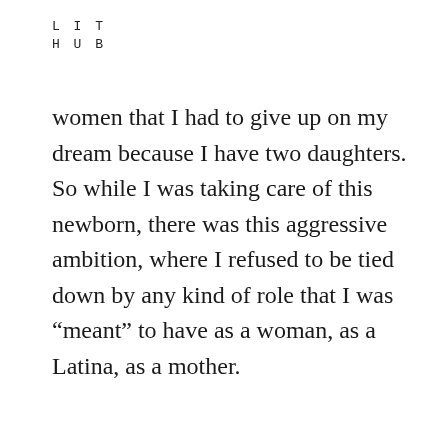LIT
HUB
women that I had to give up on my dream because I have two daughters. So while I was taking care of this newborn, there was this aggressive ambition, where I refused to be tied down by any kind of role that I was “meant” to have as a woman, as a Latina, as a mother.